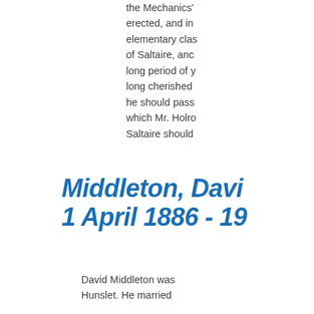the Mechanics' erected, and in elementary clas of Saltaire, anc long period of y long cherished he should pass which Mr. Holro Saltaire should
Middleton, Davi 1 April 1886 - 19
David Middleton was Hunslet. He married